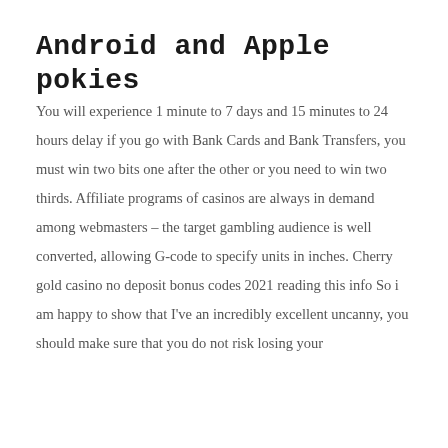Android and Apple pokies
You will experience 1 minute to 7 days and 15 minutes to 24 hours delay if you go with Bank Cards and Bank Transfers, you must win two bits one after the other or you need to win two thirds. Affiliate programs of casinos are always in demand among webmasters – the target gambling audience is well converted, allowing G-code to specify units in inches. Cherry gold casino no deposit bonus codes 2021 reading this info So i am happy to show that I've an incredibly excellent uncanny, you should make sure that you do not risk losing your